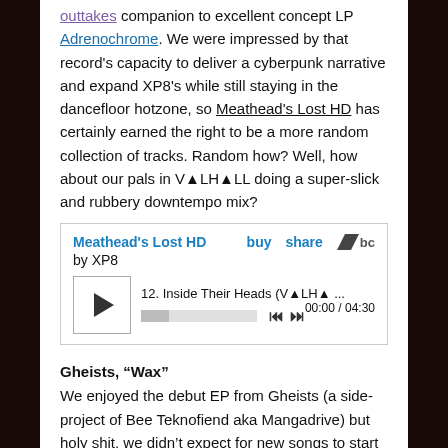outtakes companion to excellent concept LP Adrenochrome. We were impressed by that record's capacity to deliver a cyberpunk narrative and expand XP8's while still staying in the dancefloor hotzone, so Meathead's Lost HD has certainly earned the right to be a more random collection of tracks. Random how? Well, how about our pals in V▲LH▲LL doing a super-slick and rubbery downtempo mix?
[Figure (screenshot): Bandcamp embedded player widget showing 'Meathead's Lost HD by XP8'. Controls include buy, share, bandcamp logo, play button, track 12 'Inside Their Heads (V▲LH▲...)', time 00:00/04:30, progress bar, skip back and skip forward buttons.]
Gheists, "Wax"
We enjoyed the debut EP from Gheists (a side-project of Bee Teknofiend aka Mangadrive) but holy shit, we didn't expect for new songs to start surfacing so soon and to show such a marked shift in sound. Them slow, trappy drums are still in full effect, but listen to the enormous digital space they're